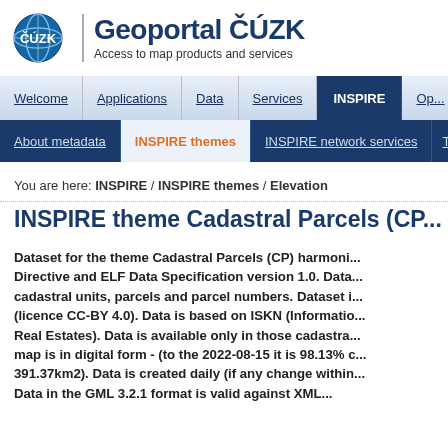[Figure (logo): ČÚZK globe logo with text ČÚZK]
Geoportal ČÚZK
Access to map products and services
Welcome | Applications | Data | Services | INSPIRE | Op...
About metadata | INSPIRE themes | INSPIRE network services | Terms o...
You are here: INSPIRE / INSPIRE themes / Elevation
INSPIRE theme Cadastral Parcels (CP...
Dataset for the theme Cadastral Parcels (CP) harmoni... Directive and ELF Data Specification version 1.0. Data... cadastral units, parcels and parcel numbers. Dataset i... (licence CC-BY 4.0). Data is based on ISKN (Informatio... Real Estates). Data is available only in those cadastra... map is in digital form - (to the 2022-08-15 it is 98.13% c... 391.37km2). Data is created daily (if any change within... Data in the GML 3.2.1 format is valid against XML...